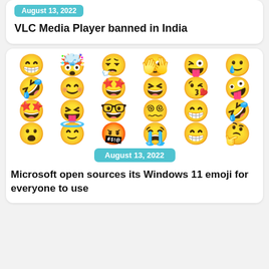August 13, 2022
VLC Media Player banned in India
[Figure (photo): Grid of Windows 11 emoji faces in 4 rows and 6 columns, showing various expressions]
August 13, 2022
Microsoft open sources its Windows 11 emoji for everyone to use